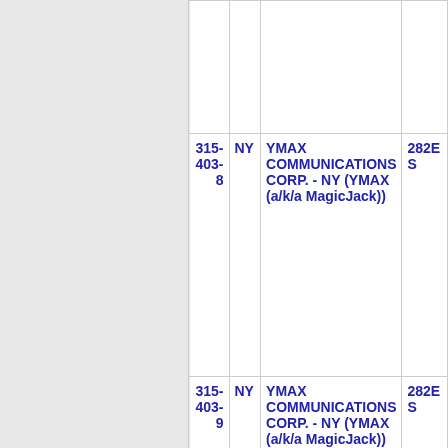| Number | State | Company Name | Address |
| --- | --- | --- | --- |
|  |  |  |  |
| 315-403-8 | NY | YMAX COMMUNICATIONS CORP. - NY (YMAX (a/k/a MagicJack)) | 282E S |
| 315-403-9 | NY | YMAX COMMUNICATIONS CORP. - NY (YMAX (a/k/a MagicJack)) | 282E S |